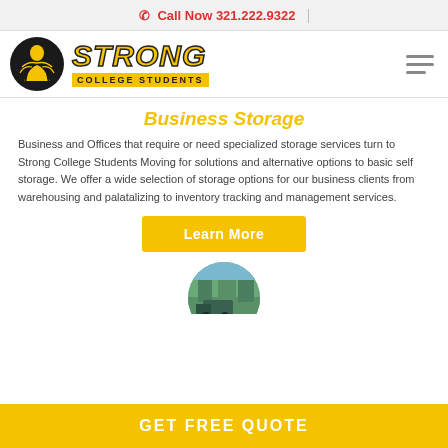Call Now 321.222.9322
[Figure (logo): Strong College Students logo with black circle icon and yellow bold italic STRONG text above COLLEGE STUDENTS banner, plus hamburger menu icon]
Business Storage
Business and Offices that require or need specialized storage services turn to Strong College Students Moving for solutions and alternative options to basic self storage. We offer a wide selection of storage options for our business clients from warehousing and palatalizing to inventory tracking and management services.
Learn More
[Figure (photo): Circular cropped photo showing outdoor scene with trees and a vehicle]
GET FREE QUOTE